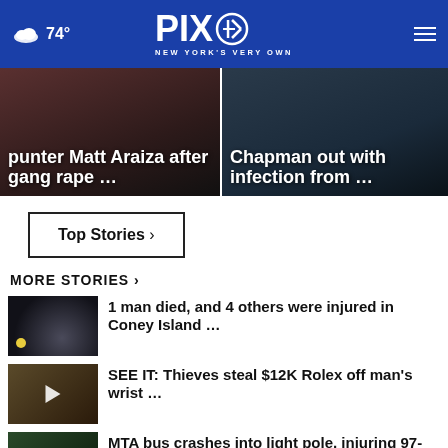74° PIX 11 NEW YORK'S VERY OWN
[Figure (screenshot): Hero image left: punter Matt Araiza after gang rape …]
[Figure (screenshot): Hero image right: Chapman out with infection from …]
punter Matt Araiza after gang rape …
Chapman out with infection from …
Top Stories ›
MORE STORIES ›
[Figure (photo): Dark nighttime scene thumbnail for Coney Island story]
1 man died, and 4 others were injured in Coney Island …
[Figure (photo): Thumbnail with play button for Rolex theft story]
SEE IT: Thieves steal $12K Rolex off man's wrist …
[Figure (photo): Thumbnail with play button for MTA bus story]
MTA bus crashes into light pole, injuring 97-year-old